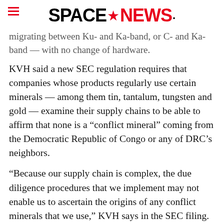SPACENEWS
migrating between Ku- and Ka-band, or C- and Ka-band — with no change of hardware.
KVH said a new SEC regulation requires that companies whose products regularly use certain minerals — among them tin, tantalum, tungsten and gold — examine their supply chains to be able to affirm that none is a “conflict mineral” coming from the Democratic Republic of Congo or any of DRC’s neighbors.
“Because our supply chain is complex, the due diligence procedures that we implement may not enable us to ascertain the origins of any conflict minerals that we use,” KVH says in the SEC filing. “We may also face difficulties in satisfying customers who may require that our products be certified as DRC conflict-free.”